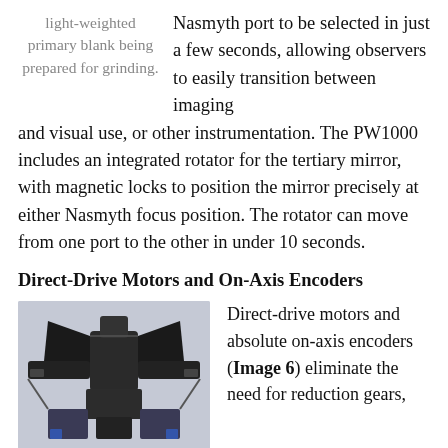light-weighted primary blank being prepared for grinding.
Nasmyth port to be selected in just a few seconds, allowing observers to easily transition between imaging and visual use, or other instrumentation. The PW1000 includes an integrated rotator for the tertiary mirror, with magnetic locks to position the mirror precisely at either Nasmyth focus position. The rotator can move from one port to the other in under 10 seconds.
Direct-Drive Motors and On-Axis Encoders
[Figure (photo): Photograph of a telescope mount assembly showing direct-drive motors, with dark mechanical components against a light grey background.]
Direct-drive motors and absolute on-axis encoders (Image 6) eliminate the need for reduction gears,